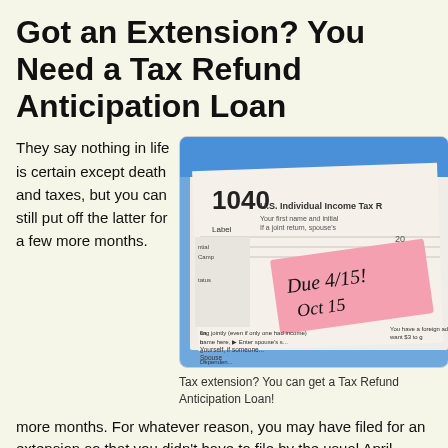Got an Extension? You Need a Tax Refund Anticipation Loan
They say nothing in life is certain except death and taxes, but you can still put off the latter for a few more months. For whatever reason, you may have filed for an extension so that you didn't have to file by the usual April
[Figure (photo): A 1040 U.S. Individual Income Tax Return form with a pink sticky note on top reading 'Due 4/15! Oct 15']
Tax extension? You can get a Tax Refund Anticipation Loan!